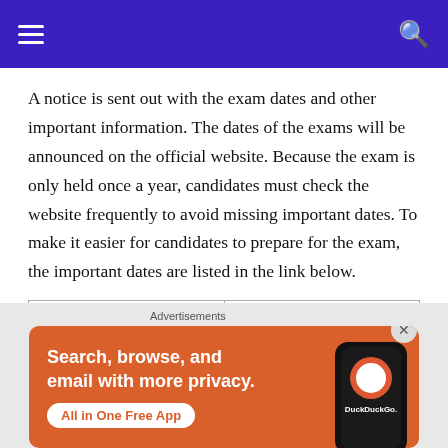Navigation header with hamburger menu and search icon
A notice is sent out with the exam dates and other important information. The dates of the exams will be announced on the official website. Because the exam is only held once a year, candidates must check the website frequently to avoid missing important dates. To make it easier for candidates to prepare for the exam, the important dates are listed in the link below.
| Events | Dates (Expected) |
| --- | --- |
| Notification Released on | 1st week of August 2022 |
|  | - |
[Figure (screenshot): DuckDuckGo advertisement banner: Search, browse, and email with more privacy. All in One Free App. Shows DuckDuckGo logo on a phone screen.]